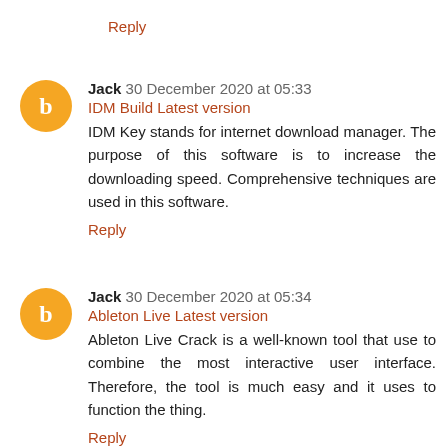Reply
Jack 30 December 2020 at 05:33
IDM Build Latest version
IDM Key stands for internet download manager. The purpose of this software is to increase the downloading speed. Comprehensive techniques are used in this software.
Reply
Jack 30 December 2020 at 05:34
Ableton Live Latest version
Ableton Live Crack is a well-known tool that use to combine the most interactive user interface. Therefore, the tool is much easy and it uses to function the thing.
Reply